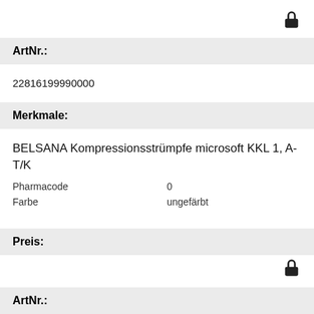[Figure (other): Lock icon in top-right corner]
ArtNr.:
22816199990000
Merkmale:
BELSANA Kompressionsstrümpfe microsoft KKL 1, A-T/K
Pharmacode	0
Farbe	ungefärbt
Preis:
[Figure (other): Lock icon]
ArtNr.: